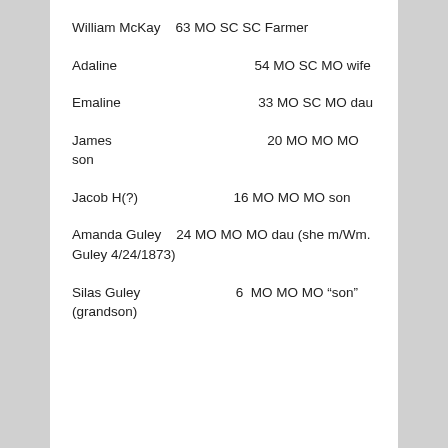William McKay   63 MO SC SC Farmer
Adaline                        54 MO SC MO wife
Emaline                        33 MO SC MO dau
James                          20 MO MO MO son
Jacob H(?)            16 MO MO MO son
Amanda Guley   24 MO MO MO dau (she m/Wm. Guley 4/24/1873)
Silas Guley                6  MO MO MO “son” (grandson)